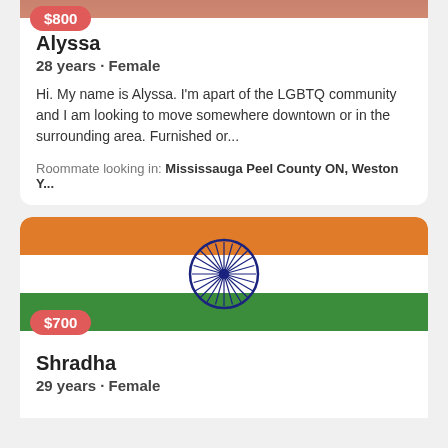$800
Alyssa
28 years · Female
Hi. My name is Alyssa. I'm apart of the LGBTQ community and I am looking to move somewhere downtown or in the surrounding area. Furnished or...
Roommate looking in: Mississauga Peel County ON, Weston Y...
[Figure (illustration): Indian national flag with saffron/orange top stripe, white middle stripe with navy blue Ashoka Chakra wheel, and green bottom stripe]
$700
Shradha
29 years · Female